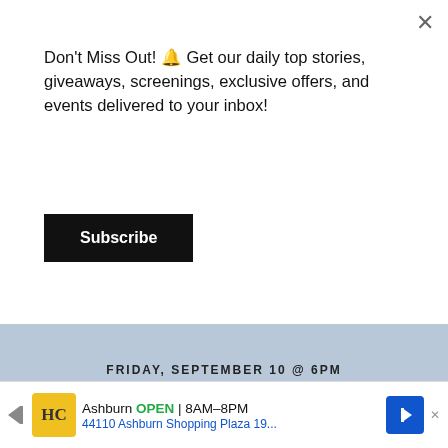Don't Miss Out! 🔔 Get our daily top stories, giveaways, screenings, exclusive offers, and events delivered to your inbox!
Subscribe
[Figure (photo): Event banner for The Carlyle Venue showing FRIDAY, SEPTEMBER 10 @ 6PM, the venue name with address 1919 PIEDMONT ROAD NE | ATLANTA, GA 30324]
WHAT'S TRENDING
[Figure (photo): Thumbnail photo of a woman]
Twitter Scours The World Wide Web For The Lori Harvey Sex Tape
Ashburn OPEN 8AM–8PM 44110 Ashburn Shopping Plaza 19...